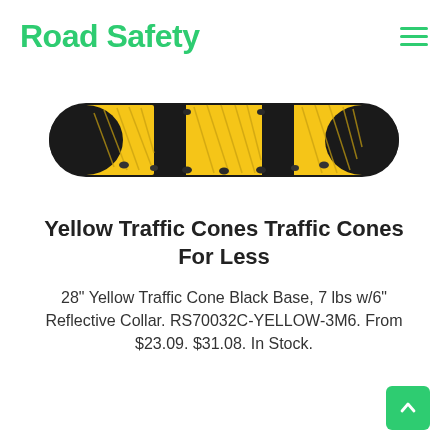Road Safety
[Figure (photo): A yellow and black rubber speed bump viewed from above, showing alternating yellow and black sections with a ribbed texture pattern and mounting holes along the bottom edge.]
Yellow Traffic Cones Traffic Cones For Less
28" Yellow Traffic Cone Black Base, 7 lbs w/6" Reflective Collar. RS70032C-YELLOW-3M6. From $23.09. $31.08. In Stock.